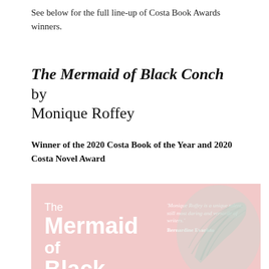See below for the full line-up of Costa Book Awards winners.
The Mermaid of Black Conch by Monique Roffey
Winner of the 2020 Costa Book of the Year and 2020 Costa Novel Award
[Figure (photo): Book cover of 'The Mermaid of Black Conch' by Monique Roffey. Pink/salmon background with white title text on the left. A quote by Bernardine Evaristo on the right: 'Monique Roffey is a unique talent, still most daring and versatile of writers.' An illustrated conch shell is visible on the lower right.]